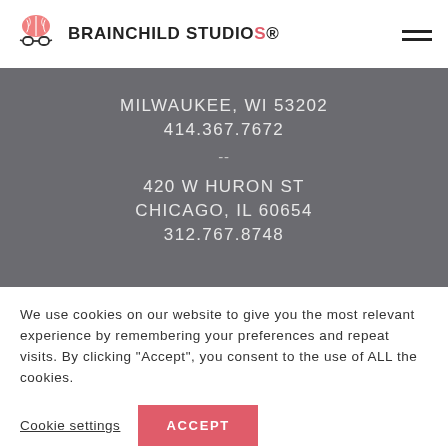[Figure (logo): Brainchild Studios logo: pink brain with glasses icon and bold uppercase text BRAINCHILD STUDIOS with registered trademark symbol]
MILWAUKEE, WI 53202
414.367.7672
--
420 W HURON ST
CHICAGO, IL 60654
312.767.8748
We use cookies on our website to give you the most relevant experience by remembering your preferences and repeat visits. By clicking “Accept”, you consent to the use of ALL the cookies.
Cookie settings
ACCEPT